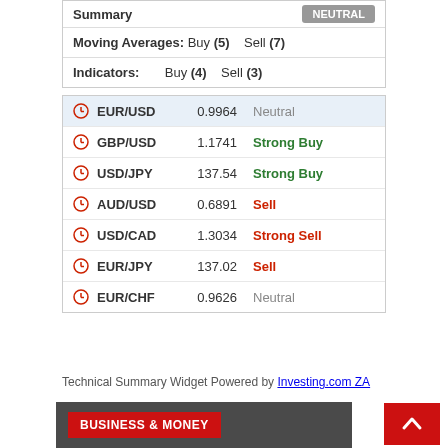|  | Summary | NEUTRAL |
| --- | --- | --- |
| Moving Averages: | Buy (5) | Sell (7) |
| Indicators: | Buy (4) | Sell (3) |
|  | Pair | Value | Signal |
| --- | --- | --- | --- |
|  | EUR/USD | 0.9964 | Neutral |
|  | GBP/USD | 1.1741 | Strong Buy |
|  | USD/JPY | 137.54 | Strong Buy |
|  | AUD/USD | 0.6891 | Sell |
|  | USD/CAD | 1.3034 | Strong Sell |
|  | EUR/JPY | 137.02 | Sell |
|  | EUR/CHF | 0.9626 | Neutral |
Technical Summary Widget Powered by Investing.com ZA
BUSINESS & MONEY